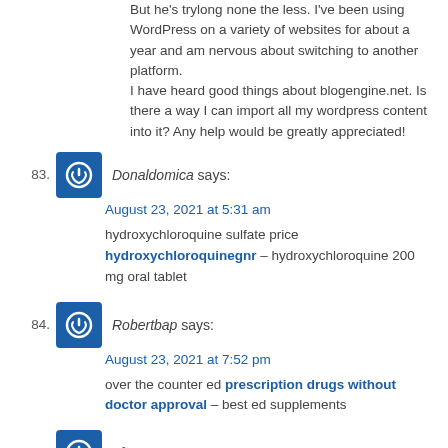But he's trylong none the less. I've been using WordPress on a variety of websites for about a year and am nervous about switching to another platform. I have heard good things about blogengine.net. Is there a way I can import all my wordpress content into it? Any help would be greatly appreciated!
83. Donaldomica says: August 23, 2021 at 5:31 am — hydroxychloroquine sulfate price hydroxychloroquinegnr – hydroxychloroquine 200 mg oral tablet
84. Robertbap says: August 23, 2021 at 7:52 pm — over the counter ed prescription drugs without doctor approval – best ed supplements
85. of ps4 games says: August 24, 2021 at 3:45 am — I like reading through an article that will make men and women think. Also, many thanks for allowing me to comment!
86. ps4 games was says: August 25, 2021 at 8:51 am — I do not know if it's just me or if everybody else experiencing issues